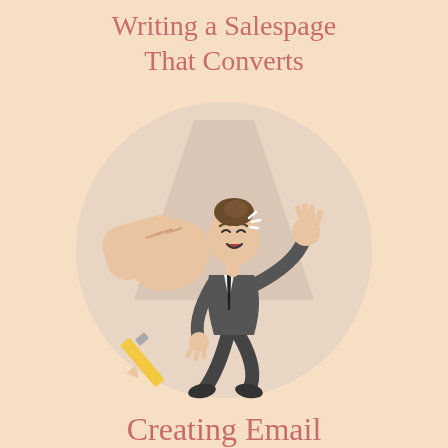Writing a Salespage That Converts
[Figure (illustration): Cartoon illustration of a businessman in a dark suit being punched or pushed, reacting with distress, set inside a circular frame with a spotlight background effect. A large fist is visible on the left side striking the man who has his hair in a bun and is visibly startled.]
Creating Email